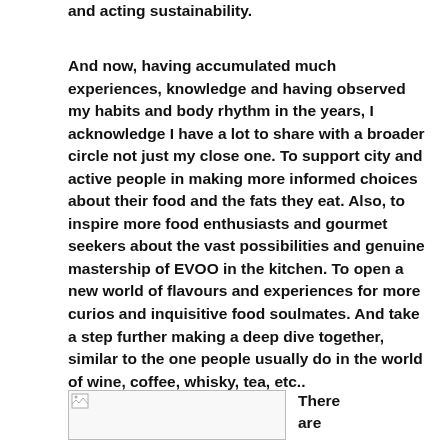and acting sustainability.
And now, having accumulated much experiences, knowledge and having observed my habits and body rhythm in the years, I acknowledge I have a lot to share with a broader circle not just my close one. To support city and active people in making more informed choices about their food and the fats they eat. Also, to inspire more food enthusiasts and gourmet seekers about the vast possibilities and genuine mastership of EVOO in the kitchen. To open a new world of flavours and experiences for more curios and inquisitive food soulmates. And take a step further making a deep dive together, similar to the one people usually do in the world of wine, coffee, whisky, tea, etc..
[Figure (photo): Broken/loading image placeholder]
There are